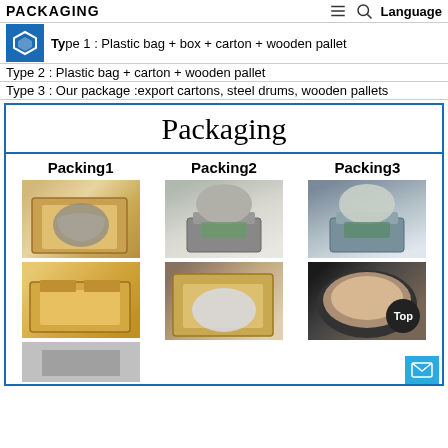PACKAGING
Type 1 : Plastic bag + box + carton + wooden pallet
Type 2 : Plastic bag + carton + wooden pallet
Type 3 : Our package :export cartons, steel drums, wooden pallets
Packaging
Packing1
[Figure (photo): Plastic bag with material inside a cardboard box]
[Figure (photo): Empty open cardboard box]
Packing2
[Figure (photo): Bag of material on a digital weighing scale]
[Figure (photo): Plastic bag inside an open cardboard box]
Packing3
[Figure (photo): Bag of material on a digital weighing scale]
[Figure (photo): Steel drum with plastic bag inside, with Top badge overlay]